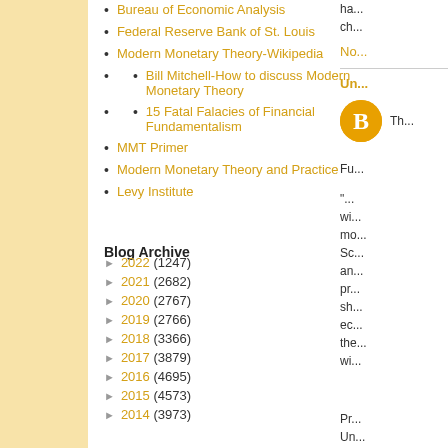Bureau of Economic Analysis
Federal Reserve Bank of St. Louis
Modern Monetary Theory-Wikipedia
Bill Mitchell-How to discuss Modern Monetary Theory
15 Fatal Falacies of Financial Fundamentalism
MMT Primer
Modern Monetary Theory and Practice
Levy Institute
Blog Archive
2022 (1247)
2021 (2682)
2020 (2767)
2019 (2766)
2018 (3366)
2017 (3879)
2016 (4695)
2015 (4573)
2014 (3973)
ch...
No...
Un...
[Figure (logo): Blogger orange circle icon with B]
Th...
Fu...
"... wi... mo... Sc... an... pr... sh... ec... the... wi...
Pr... Un...